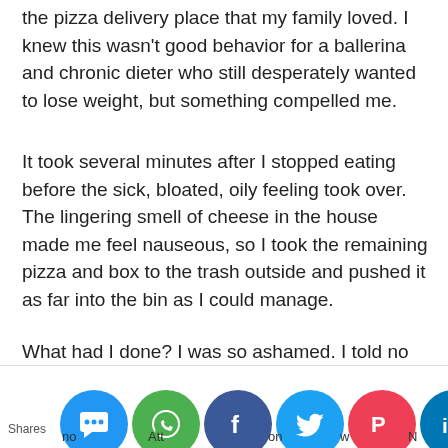the pizza delivery place that my family loved. I knew this wasn't good behavior for a ballerina and chronic dieter who still desperately wanted to lose weight, but something compelled me.
It took several minutes after I stopped eating before the sick, bloated, oily feeling took over. The lingering smell of cheese in the house made me feel nauseous, so I took the remaining pizza and box to the trash outside and pushed it as far into the bin as I could manage.
What had I done? I was so ashamed. I told no one.
[Figure (other): Social media share buttons footer bar showing: Shares label, partial text 'no', SMS icon (blue circle), partial text 'Att', WhatsApp icon (green circle), partial text 'on', Facebook icon (dark blue circle), partial text 'w', Twitter icon (light blue circle), partial text 'N', Pocket icon (red circle), LinkedIn icon (blue circle)]